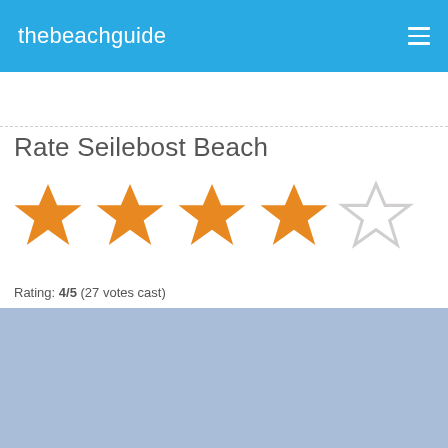thebeachguide
Rate Seilebost Beach
[Figure (other): Star rating display showing 4 out of 5 filled orange stars and 1 empty star]
Rating: 4/5 (27 votes cast)
[Figure (map): Map with zoom controls showing + and - buttons, blue-grey background representing a map area]